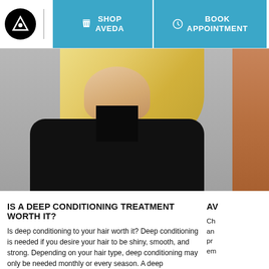[Figure (screenshot): Aveda website navigation bar with logo, Shop Aveda button, Book Appointment button, and hamburger menu]
[Figure (photo): Blonde woman with flowing hair wearing a black outfit, smiling, photographed against a grey background. Partial view of another person on the right edge.]
IS A DEEP CONDITIONING TREATMENT WORTH IT?
Is deep conditioning to your hair worth it? Deep conditioning is needed if you desire your hair to be shiny, smooth, and strong. Depending on your hair type, deep conditioning may only be needed monthly or every season. A deep conditioning treatment will condition the m...
AV
Ch an pr em